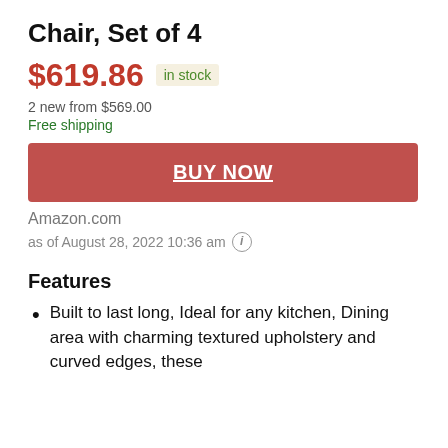Chair, Set of 4
$619.86  in stock
2 new from $569.00
Free shipping
BUY NOW
Amazon.com
as of August 28, 2022 10:36 am
Features
Built to last long, Ideal for any kitchen, Dining area with charming textured upholstery and curved edges, these